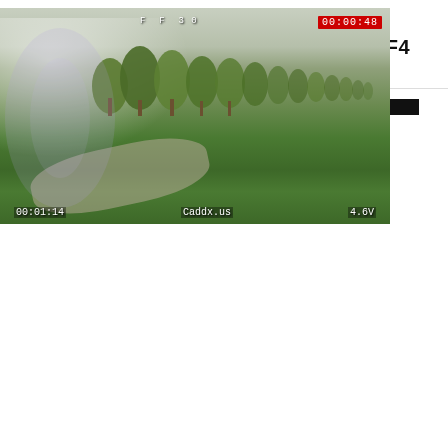LDARC KINGKONG KK 5GT + AURORARC C2 FLYTOWER OMVT F4
BLACKFIRE GAMES, 14 OCT 2018   👁 446
[Figure (screenshot): FPV drone footage showing a grassy field with trees in the background and a dirt path. Overlays show: top-right red timer '00:00:48', top-center '00:01:14' style telemetry text, bottom-left '00:01:14', bottom-center 'Caddx.us', bottom-right '4.6V'.]
BEATING UP THE AURORARC QAV105